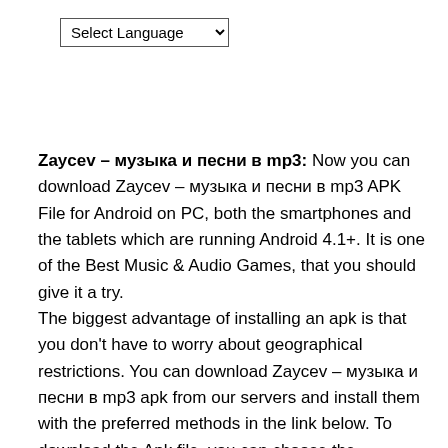[Figure (other): Select Language dropdown widget]
Zaycev – музыка и песни в mp3: Now you can download Zaycev – музыка и песни в mp3 APK File for Android on PC, both the smartphones and the tablets which are running Android 4.1+. It is one of the Best Music & Audio Games, that you should give it a try. The biggest advantage of installing an apk is that you don't have to worry about geographical restrictions. You can download Zaycev – музыка и песни в mp3 apk from our servers and install them with the preferred methods in the link below. To download the Apk file, you can choose the download links from below. After you have downloaded Zaycev – музыка и песни в mp3, copy the apk to your SD